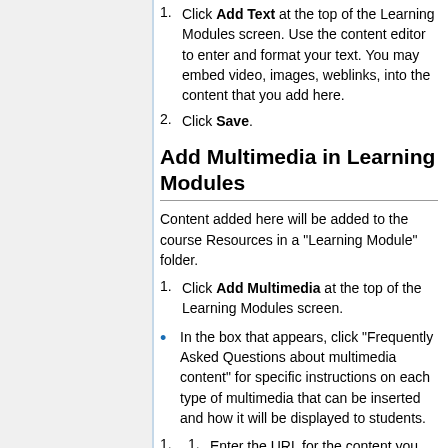1. Click Add Text at the top of the Learning Modules screen. Use the content editor to enter and format your text. You may embed video, images, weblinks, into the content that you add here.
2. Click Save.
Add Multimedia in Learning Modules
Content added here will be added to the course Resources in a "Learning Module" folder.
1. Click Add Multimedia at the top of the Learning Modules screen.
In the box that appears, click "Frequently Asked Questions about multimedia content" for specific instructions on each type of multimedia that can be inserted and how it will be displayed to students.
1. 1. Enter the URL for the content you want to insert, such as a